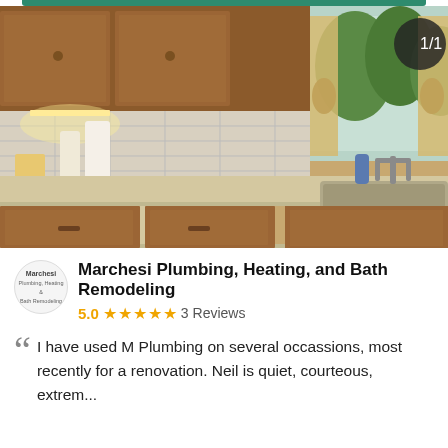[Figure (photo): Kitchen photo showing wooden cabinets, tiled backsplash, corner sink with faucet, and window with curtains]
Marchesi Plumbing, Heating, and Bath Remodeling
5.0 ★★★★★ 3 Reviews
I have used M Plumbing on several occassions, most recently for a renovation. Neil is quiet, courteous, extrem...